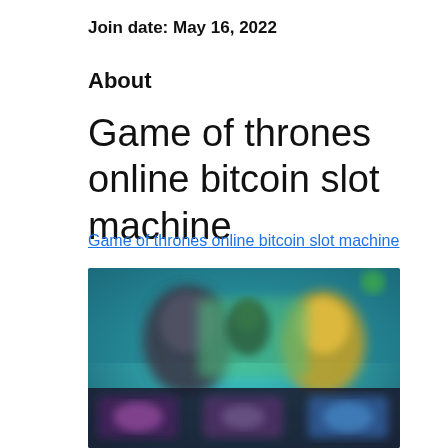Join date: May 16, 2022
About
Game of thrones online bitcoin slot machine
Game of thrones online bitcoin slot machine
[Figure (screenshot): Blurred screenshot of a Game of Thrones online slot machine game interface showing animated characters and game UI elements against a teal/blue background.]